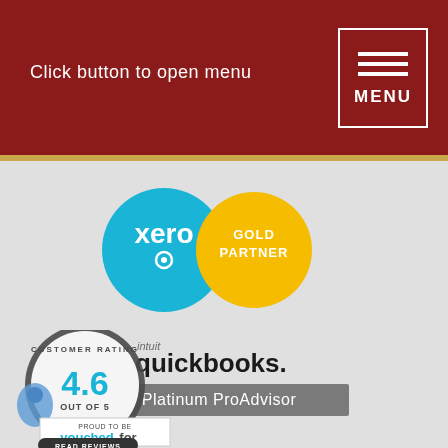Click button to open menu
[Figure (logo): Xero Gold Partner logo - blue circle with xero text and gold circle with GOLD PARTNER text]
[Figure (logo): intuit quickbooks Platinum ProAdvisor logo]
[Figure (logo): VouchedFor customer rating badge - 4.6 out of 5, PROUD TO BE vouchedfor, READ REVIEWS]